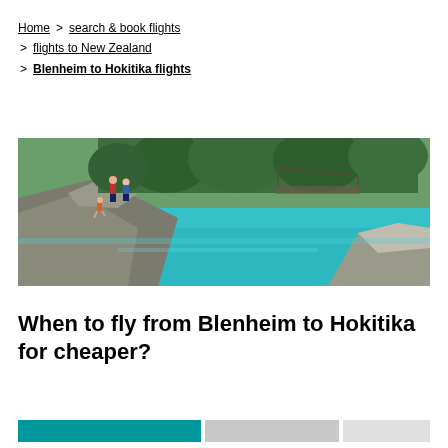Home > search & book flights > flights to New Zealand > Blenheim to Hokitika flights
[Figure (photo): People jumping off rocks into a turquoise blue river gorge surrounded by native bush and rocky cliffs. A suspension bridge is visible in the background.]
When to fly from Blenheim to Hokitika for cheaper?